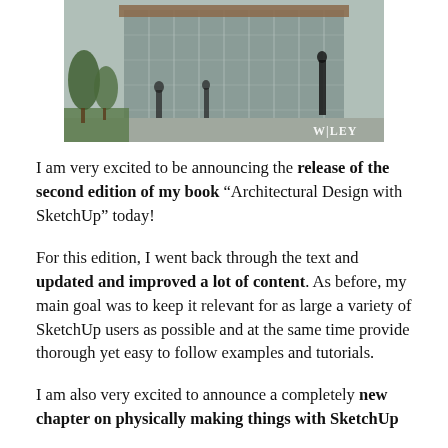[Figure (photo): Architectural rendering of a modern glass building exterior with people walking, trees, and green lawn. Wiley logo visible in lower right corner.]
I am very excited to be announcing the release of the second edition of my book “Architectural Design with SketchUp” today!
For this edition, I went back through the text and updated and improved a lot of content. As before, my main goal was to keep it relevant for as large a variety of SketchUp users as possible and at the same time provide thorough yet easy to follow examples and tutorials.
I am also very excited to announce a completely new chapter on physically making things with SketchUp